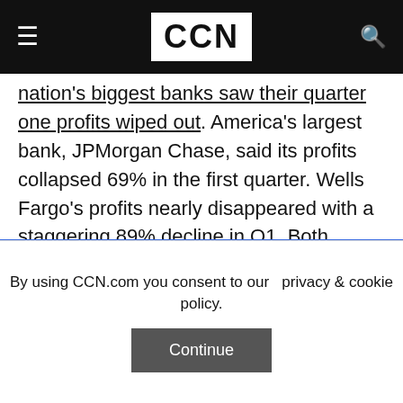CCN
nation's biggest banks saw their quarter one profits wiped out. America's largest bank, JPMorgan Chase, said its profits collapsed 69% in the first quarter. Wells Fargo's profits nearly disappeared with a staggering 89% decline in Q1. Both banks are shoring up for a tidal wave of defaults.

A technical analysis of the stock market's broad S&P 500 benchmark doesn't bode well either. The 50% retracement of the February-March stock
By using CCN.com you consent to our  privacy & cookie policy.
Continue